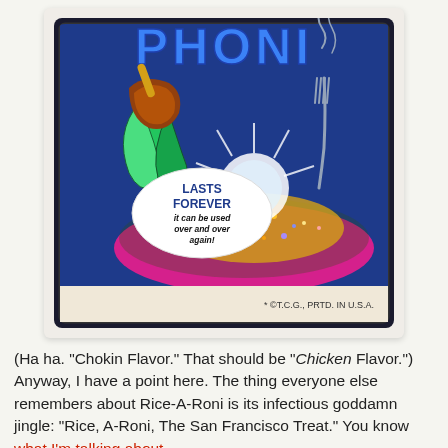[Figure (illustration): A parody trading card / sticker of 'Rice-A-Roni' styled as 'Phoni' (with 'Chokin Flavor' implied). The card shows a colorful illustrated bowl of food exploding with chicken pieces and green peppers, a fork, and a speech bubble reading 'LASTS FOREVER it can be used over and over again!' The bottom right of the card reads '* ©T.C.G., PRTD. IN U.S.A.']
(Ha ha. "Chokin Flavor." That should be "Chicken Flavor.") Anyway, I have a point here. The thing everyone else remembers about Rice-A-Roni is its infectious goddamn jingle: "Rice, A-Roni, The San Francisco Treat." You know what I'm talking about.